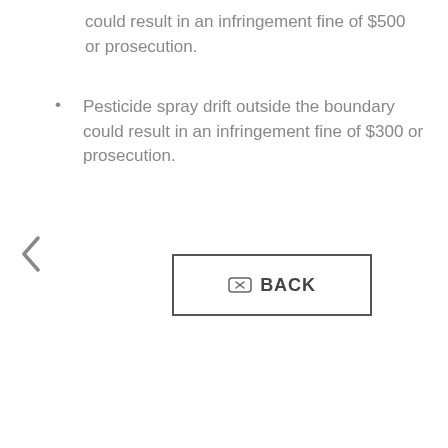could result in an infringement fine of $500 or prosecution.
Pesticide spray drift outside the boundary could result in an infringement fine of $300 or prosecution.
[Figure (other): Left navigation arrow (<) for going back]
[Figure (other): BACK button with backspace icon and label BACK]